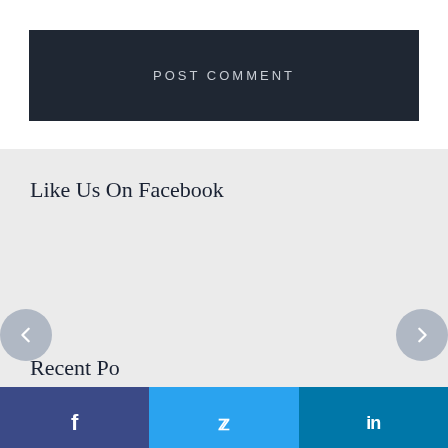POST COMMENT
Like Us On Facebook
Recent Po
[Figure (other): Social media share bar with Facebook, Twitter, and LinkedIn icons at bottom of page]